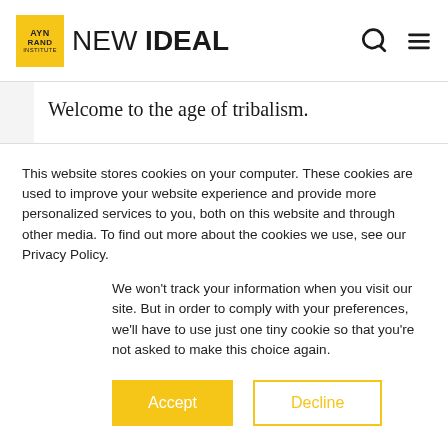NEW IDEAL
Welcome to the age of tribalism.
Regrettably, this captures what many of us are feeling. We sense something has gone wrong with the idea that is America.
Cable news outlets now routinely support
This website stores cookies on your computer. These cookies are used to improve your website experience and provide more personalized services to you, both on this website and through other media. To find out more about the cookies we use, see our Privacy Policy.
We won't track your information when you visit our site. But in order to comply with your preferences, we'll have to use just one tiny cookie so that you're not asked to make this choice again.